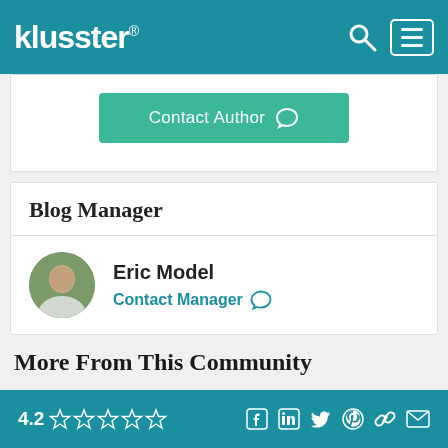klusster®
Contact Author
Blog Manager
Eric Model
Contact Manager
More From This Community
Featured
Fresh
Popular
4.2 ☆☆☆☆☆